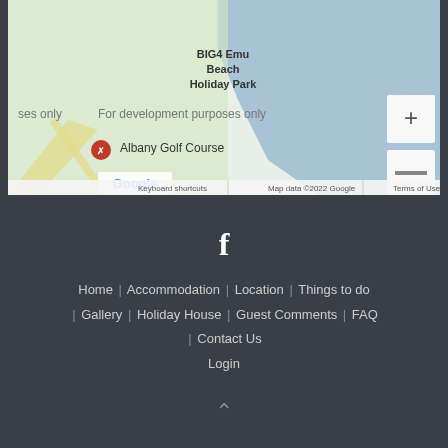[Figure (map): Google Maps screenshot showing BIG4 Emu Beach Holiday Park and Albany Golf Course area. Shows 'For development purposes only' watermark. Includes zoom controls (+/-) and Google branding. Bottom bar shows: Keyboard shortcuts | Map data ©2022 Google | Terms of Use]
f
Home | Accommodation | Location | Things to do | Gallery | Holiday House | Guest Comments | FAQ | Contact Us
Login
^